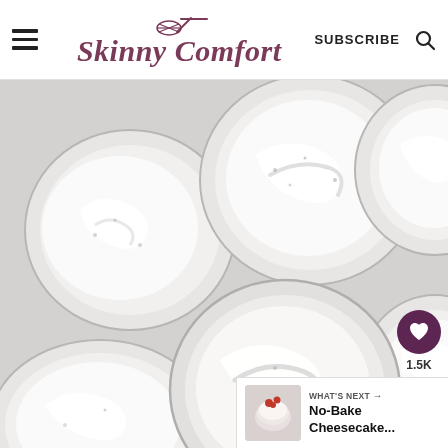Skinny Comfort — SUBSCRIBE
[Figure (photo): Overhead view of multiple small clear plastic cups filled with white creamy dessert (cheesecake mousse), arranged on a light gray surface, viewed from above]
1.5K
WHAT'S NEXT → No-Bake Cheesecake...